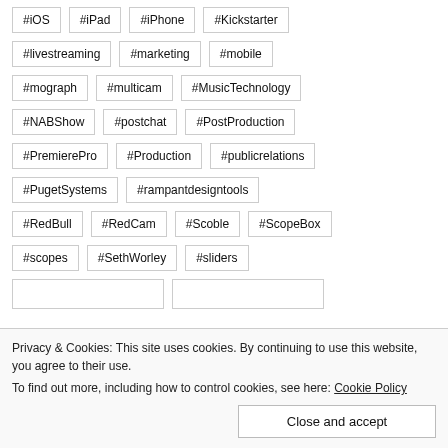#iOS #iPad #iPhone #Kickstarter
#livestreaming #marketing #mobile
#mograph #multicam #MusicTechnology
#NABShow #postchat #PostProduction
#PremierePro #Production #publicrelations
#PugetSystems #rampantdesigntools
#RedBull #RedCam #Scoble #ScopeBox
#scopes #SethWorley #sliders
Privacy & Cookies: This site uses cookies. By continuing to use this website, you agree to their use.
To find out more, including how to control cookies, see here: Cookie Policy
Close and accept